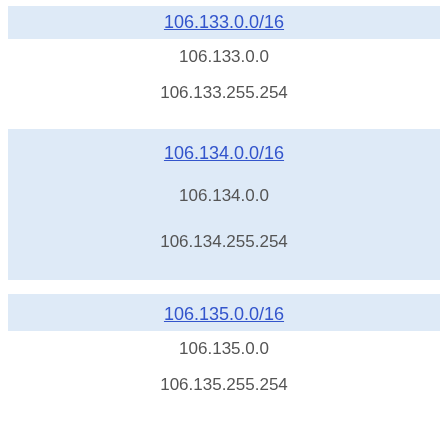106.133.0.0/16
106.133.0.0
106.133.255.254
106.134.0.0/16
106.134.0.0
106.134.255.254
106.135.0.0/16
106.135.0.0
106.135.255.254